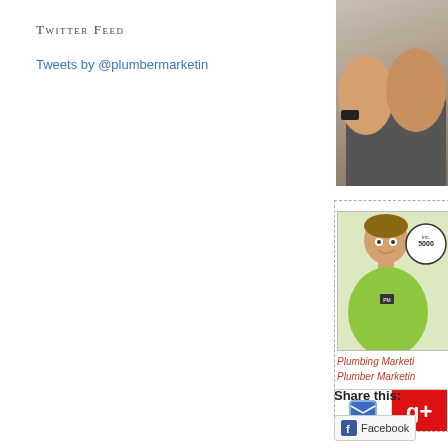Twitter Feed
Tweets by @plumbermarketin
[Figure (photo): Partial photo of a person with arms crossed wearing a dark shirt, cropped on the right side of the page]
[Figure (photo): Profile photo of a smiling man in a green polo shirt with an Inc 5000 badge logo, inside a dotted border box]
Plumbing Marketi...
Plumber Marketin...
[Figure (infographic): Social icons row: email (blue envelope) and Google+ (red g+ logo)]
Share this:
Facebook